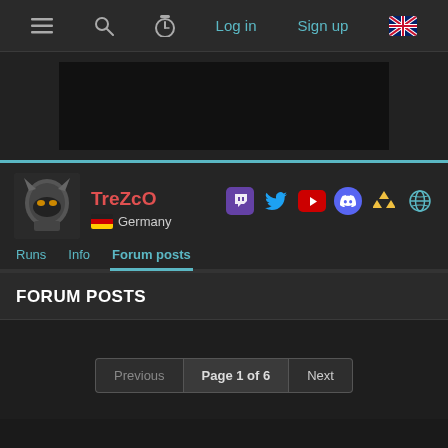≡  🔍  ⏱  Log in  Sign up  🇬🇧
[Figure (other): Dark banner/advertisement area, mostly black rectangle on dark grey background]
TreZcO
🇩🇪 Germany
[Figure (other): Social media icons: Twitch, Twitter, YouTube, Discord, Zelda triforce, Globe]
Runs  Info  Forum posts
FORUM POSTS
Previous  Page 1 of 6  Next